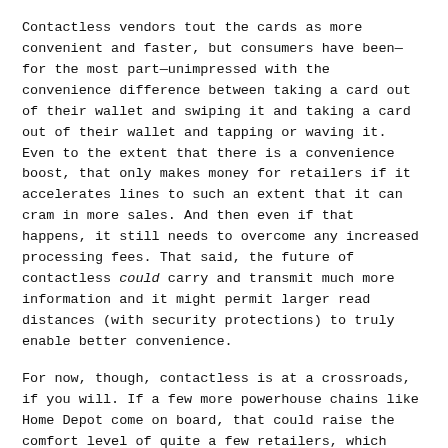Contactless vendors tout the cards as more convenient and faster, but consumers have been—for the most part—unimpressed with the convenience difference between taking a card out of their wallet and swiping it and taking a card out of their wallet and tapping or waving it. Even to the extent that there is a convenience boost, that only makes money for retailers if it accelerates lines to such an extent that it can cram in more sales. And then even if that happens, it still needs to overcome any increased processing fees. That said, the future of contactless could carry and transmit much more information and it might permit larger read distances (with security protections) to truly enable better convenience.
For now, though, contactless is at a crossroads, if you will. If a few more powerhouse chains like Home Depot come on board, that could raise the comfort level of quite a few retailers, which might make a major marketshare difference for contactless. On the flip side, though, if a few more major players like Best Buy start abandoning contactless (or sharply limit it, as Best Buy is threatening to do), that could also mushroom, giving other retailers cover if they, too, want to pull back. Such a stampede could easily cripple if not outright kill the contactless movement in the U.S..